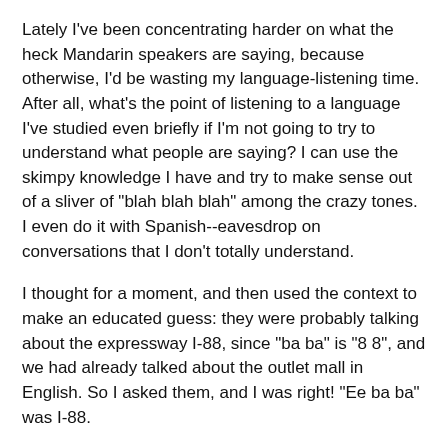Lately I've been concentrating harder on what the heck Mandarin speakers are saying, because otherwise, I'd be wasting my language-listening time. After all, what's the point of listening to a language I've studied even briefly if I'm not going to try to understand what people are saying? I can use the skimpy knowledge I have and try to make sense out of a sliver of "blah blah blah" among the crazy tones. I even do it with Spanish--eavesdrop on conversations that I don't totally understand.
I thought for a moment, and then used the context to make an educated guess: they were probably talking about the expressway I-88, since "ba ba" is "8 8", and we had already talked about the outlet mall in English. So I asked them, and I was right! "Ee ba ba" was I-88.
The last time this type of deduction occurred was this past weekend, when someone said "cha ei" (I don't remember exactly the second word, my Mandarin is so lame) while standing near some eggs. I guessed "tea eggs" and I was right, which surprised the egg-talkers.